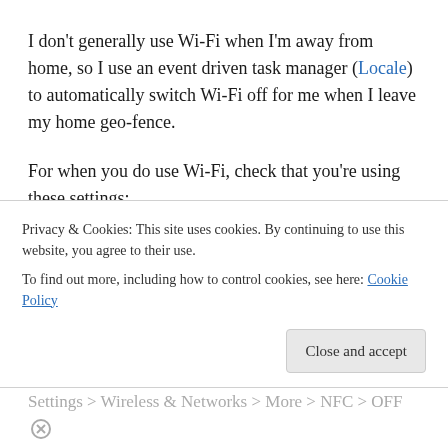I don't generally use Wi-Fi when I'm away from home, so I use an event driven task manager (Locale) to automatically switch Wi-Fi off for me when I leave my home geo-fence.
For when you do use Wi-Fi, check that you're using these settings:
Settings > Wi-Fi > Advanced > Network notification > OFF
Settings > Wi-Fi > Advanced > Wi-Fi optimization > ...
Privacy & Cookies: This site uses cookies. By continuing to use this website, you agree to their use. To find out more, including how to control cookies, see here: Cookie Policy
Settings > Wireless & Networks > More > NFC > OFF